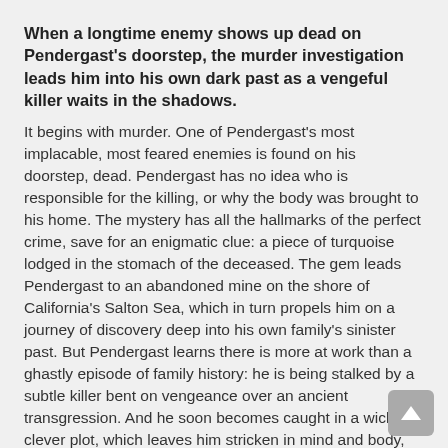When a longtime enemy shows up dead on Pendergast's doorstep, the murder investigation leads him into his own dark past as a vengeful killer waits in the shadows.
It begins with murder. One of Pendergast's most implacable, most feared enemies is found on his doorstep, dead. Pendergast has no idea who is responsible for the killing, or why the body was brought to his home. The mystery has all the hallmarks of the perfect crime, save for an enigmatic clue: a piece of turquoise lodged in the stomach of the deceased. The gem leads Pendergast to an abandoned mine on the shore of California's Salton Sea, which in turn propels him on a journey of discovery deep into his own family's sinister past. But Pendergast learns there is more at work than a ghastly episode of family history: he is being stalked by a subtle killer bent on vengeance over an ancient transgression. And he soon becomes caught in a wickedly clever plot, which leaves him stricken in mind and body, and propels him toward a reckoning beyond anything he could ever have imagined . . .
About the Author